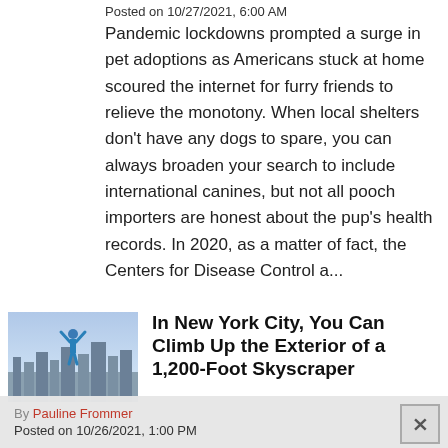Posted on 10/27/2021, 6:00 AM
Pandemic lockdowns prompted a surge in pet adoptions as Americans stuck at home scoured the internet for furry friends to relieve the monotony. When local shelters don't have any dogs to spare, you can always broaden your search to include international canines, but not all pooch importers are honest about the pup's health records. In 2020, as a matter of fact, the Centers for Disease Control a...
[Figure (photo): Aerial photo of New York City skyline with a person in a blue outfit with arms raised on a skyscraper exterior]
In New York City, You Can Climb Up the Exterior of a 1,200-Foot Skyscraper
By Pauline Frommer
Posted on 10/26/2021, 1:00 PM